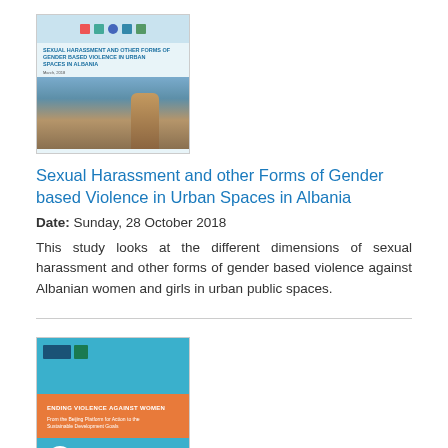[Figure (illustration): Book cover thumbnail for 'Sexual Harassment and other Forms of Gender based Violence in Urban Spaces in Albania' with logos at top and a city/woman photo]
Sexual Harassment and other Forms of Gender based Violence in Urban Spaces in Albania
Date: Sunday, 28 October 2018
This study looks at the different dimensions of sexual harassment and other forms of gender based violence against Albanian women and girls in urban public spaces.
[Figure (illustration): Book cover thumbnail for 'Ending Violence Against Women: From the Beijing Platform for Action to the Sustainable Development Goals' — blue cover with orange band and red emblem]
Ending Violence Against Women: From the Beijing Platform for Action to the Sustainable Development Goals